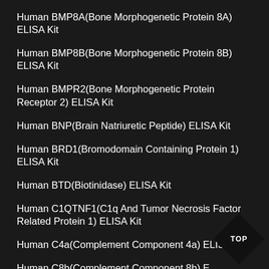Human BMP8A(Bone Morphogenetic Protein 8A) ELISA Kit
Human BMP8B(Bone Morphogenetic Protein 8B) ELISA Kit
Human BMPR2(Bone Morphogenetic Protein Receptor 2) ELISA Kit
Human BNP(Brain Natriuretic Peptide) ELISA Kit
Human BRD1(Bromodomain Containing Protein 1) ELISA Kit
Human BTD(Biotinidase) ELISA Kit
Human C1QTNF1(C1q And Tumor Necrosis Factor Related Protein 1) ELISA Kit
Human C4a(Complement Component 4a) ELISA Kit
Human C8b(Complement Component 8b) ELISA Kit
Human CACNa1B(Calcium Channel, Voltage